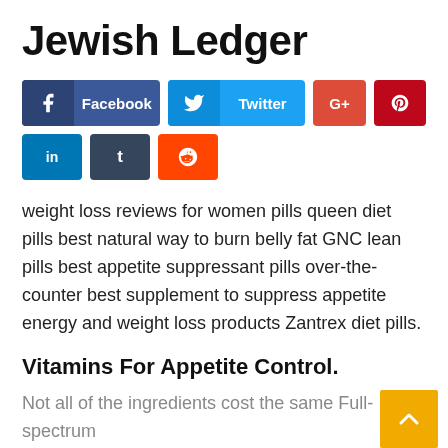Jewish Ledger
[Figure (infographic): Social media share buttons: Facebook, Twitter, Google+, Pinterest, LinkedIn, Tumblr, Reddit]
weight loss reviews for women pills queen diet pills best natural way to burn belly fat GNC lean pills best appetite suppressant pills over-the-counter best supplement to suppress appetite energy and weight loss products Zantrex diet pills.
Vitamins For Appetite Control.
Not all of the ingredients cost the same Full-spectrum